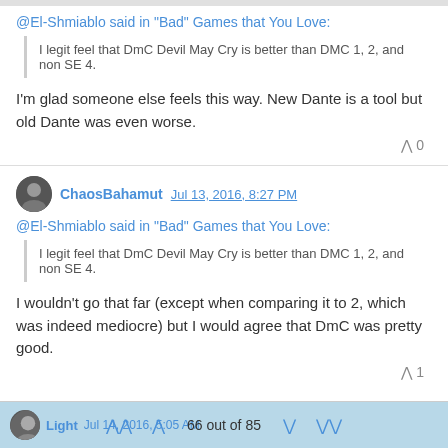@El-Shmiablo said in "Bad" Games that You Love:
I legit feel that DmC Devil May Cry is better than DMC 1, 2, and non SE 4.
I'm glad someone else feels this way. New Dante is a tool but old Dante was even worse.
0
ChaosBahamut Jul 13, 2016, 8:27 PM
@El-Shmiablo said in "Bad" Games that You Love:
I legit feel that DmC Devil May Cry is better than DMC 1, 2, and non SE 4.
I wouldn't go that far (except when comparing it to 2, which was indeed mediocre) but I would agree that DmC was pretty good.
1
66 out of 85
Light Jul 14, 2016, 5:05 AM